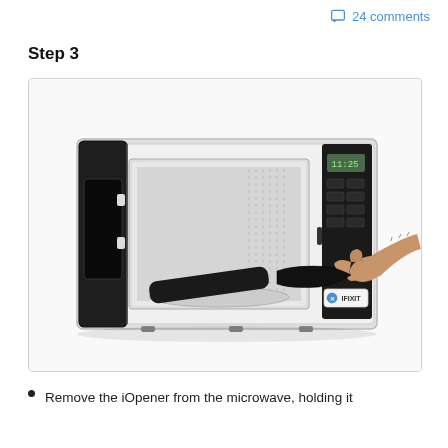24 comments
Step 3
[Figure (photo): A hand placing or removing a black iOpener heating pad into/from an open microwave oven. The microwave door is open to the left, showing the interior cavity. A hand reaches in from the right side holding the black iOpener bag. An iFixit branded sticker is visible on the lower-right of the microwave.]
Remove the iOpener from the microwave, holding it